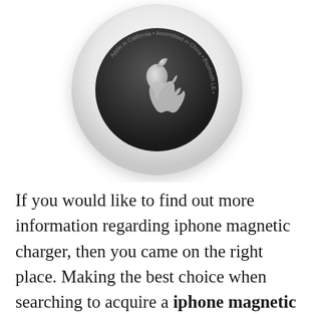[Figure (photo): Apple AirTag device viewed from the back, showing the white circular tracker with the Apple logo on the dark center disc. Text around the disc reads: 'Bluetooth LE • Apple in California • Assembled in China']
If you would like to find out more information regarding iphone magnetic charger, then you came on the right place. Making the best choice when searching to acquire a iphone magnetic charger is not simple, we are happy that you will use this information to